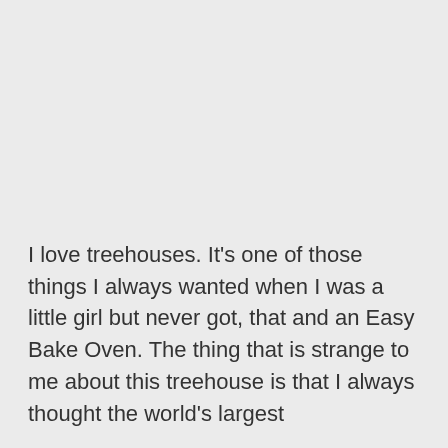I love treehouses. It's one of those things I always wanted when I was a little girl but never got, that and an Easy Bake Oven. The thing that is strange to me about this treehouse is that I always thought the world's largest